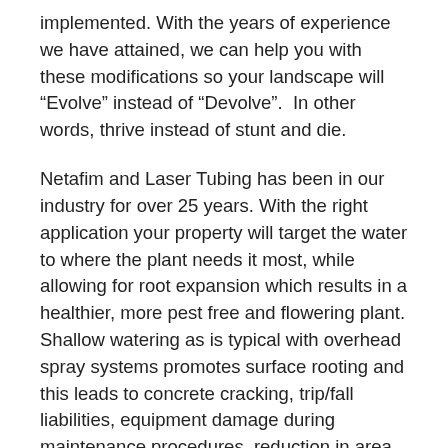implemented. With the years of experience we have attained, we can help you with these modifications so your landscape will “Evolve” instead of “Devolve”.  In other words, thrive instead of stunt and die.
Netafim and Laser Tubing has been in our industry for over 25 years. With the right application your property will target the water to where the plant needs it most, while allowing for root expansion which results in a healthier, more pest free and flowering plant. Shallow watering as is typical with overhead spray systems promotes surface rooting and this leads to concrete cracking, trip/fall liabilities, equipment damage during maintenance procedures, reduction in area to replant.
We are a Netafim and Laser Tubing irrigation dealer providing Netafim and Laser Tubing drip irrigation systems in the northern California and Northern